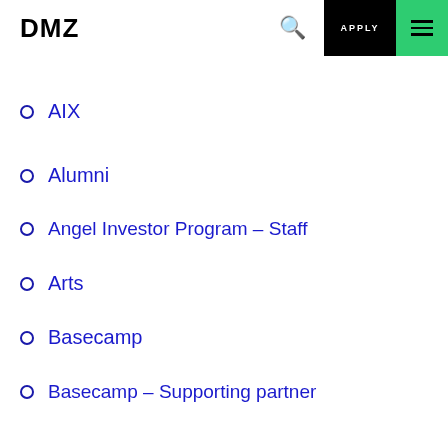DMZ | APPLY
AIX
Alumni
Angel Investor Program – Staff
Arts
Basecamp
Basecamp – Supporting partner
Basecamp Staff
BIF Champions
Black Innovation Fellowship – EiRs